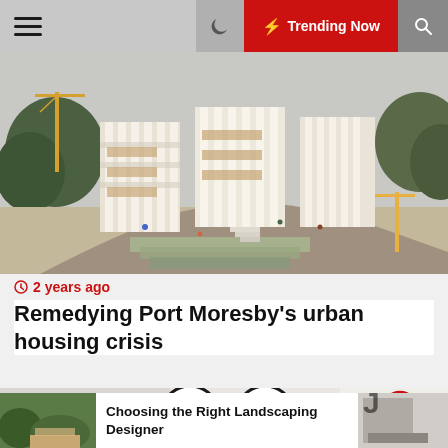Trending Now
[Figure (photo): Aerial rendering of a modern multi-story housing complex under construction with white columns, courtyards, greenery, cranes, and people walking]
2 years ago
Remedying Port Moresby’s urban housing crisis
[Figure (photo): Interior bathroom with two large round black-framed mirrors above a white vanity, and a heart/like icon overlay]
[Figure (photo): Small thumbnail of a landscaped garden path]
Choosing the Right Landscaping Designer
[Figure (photo): Partial thumbnail of a person working with tools on a table]
E t